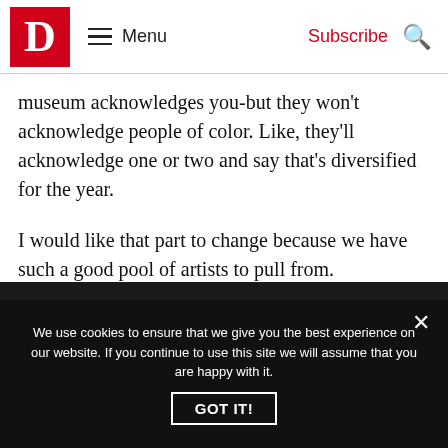D | Menu | Subscribe | Search
museum acknowledges you-but they won't acknowledge people of color. Like, they'll acknowledge one or two and say that's diversified for the year.
I would like that part to change because we have such a good pool of artists to pull from.
Get the FrontRow Newsletter
We use cookies to ensure that we give you the best experience on our website. If you continue to use this site we will assume that you are happy with it.
GOT IT!